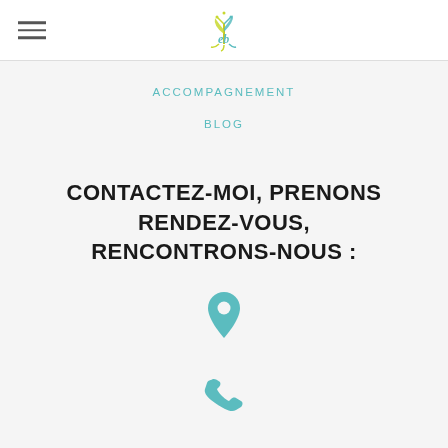[Figure (logo): Hamburger menu icon (three horizontal lines) on the left, and an 'eb' plant/tree logo centered in the header]
ACCOMPAGNEMENT
BLOG
CONTACTEZ-MOI, PRENONS RENDEZ-VOUS, RENCONTRONS-NOUS :
[Figure (illustration): Location pin icon in teal color]
[Figure (illustration): Phone handset icon in teal color]
[Figure (illustration): Envelope/email icon in teal color]